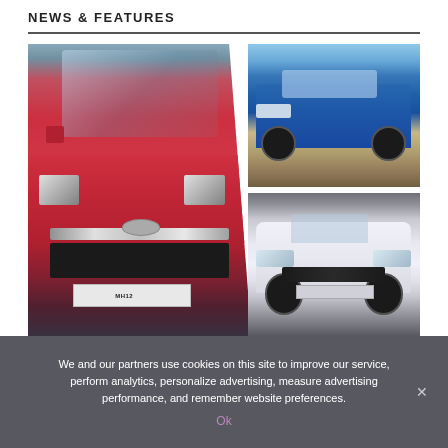NEWS & FEATURES
[Figure (photo): Collage of three cars: left side shows a red Honda City sedan front view with license plate MH12, top right shows a blue compact SUV (Toyota Urban Cruiser or similar), bottom right shows a white Tata Altroz hatchback]
We and our partners use cookies on this site to improve our service, perform analytics, personalize advertising, measure advertising performance, and remember website preferences.
Ok